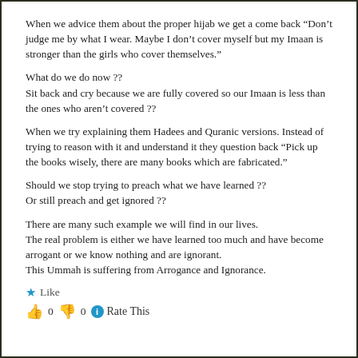When we advice them about the proper hijab we get a come back “Don’t judge me by what I wear. Maybe I don’t cover myself but my Imaan is stronger than the girls who cover themselves.”
What do we do now ??
Sit back and cry because we are fully covered so our Imaan is less than the ones who aren’t covered ??
When we try explaining them Hadees and Quranic versions. Instead of trying to reason with it and understand it they question back “Pick up the books wisely, there are many books which are fabricated.”
Should we stop trying to preach what we have learned ??
Or still preach and get ignored ??
There are many such example we will find in our lives.
The real problem is either we have learned too much and have become arrogant or we know nothing and are ignorant.
This Ummah is suffering from Arrogance and Ignorance.
★ Like
👍 0 👎 0 ℹ Rate This